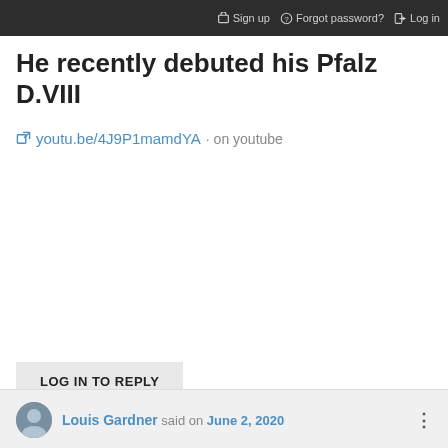Sign up   Forgot password?   Log in
He recently debuted his Pfalz D.VIII
youtu.be/4J9P1mamdYA · on youtube
LOG IN TO REPLY
Louis Gardner said on June 2, 2020